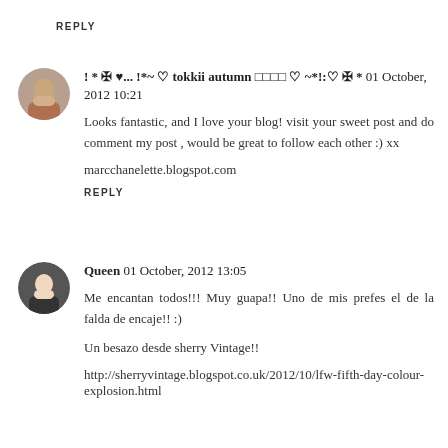REPLY
! * ✠ ♥... !*~ ♡ tokkii autumn □□□□ ♡ ~*!:♡ ✠ * 01 October, 2012 10:21
Looks fantastic, and I love your blog! visit your sweet post and do comment my post , would be great to follow each other :) xx
marcchanelette.blogspot.com
REPLY
Queen 01 October, 2012 13:05
Me encantan todos!!! Muy guapa!! Uno de mis prefes el de la falda de encaje!! :)
Un besazo desde sherry Vintage!!
http://sherryvintage.blogspot.co.uk/2012/10/lfw-fifth-day-colour-explosion.html